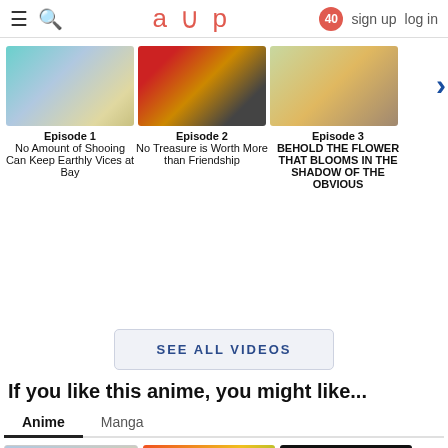aup | 40 | sign up | log in
[Figure (screenshot): Anime episode thumbnail 1 - two female anime characters]
Episode 1
No Amount of Shooing Can Keep Earthly Vices at Bay
[Figure (screenshot): Anime episode thumbnail 2 - red creature and character near arcade machine]
Episode 2
No Treasure is Worth More than Friendship
[Figure (screenshot): Anime episode thumbnail 3 - two male anime characters outdoors]
Episode 3
BEHOLD THE FLOWER THAT BLOOMS IN THE SHADOW OF THE OBVIOUS
SEE ALL VIDEOS
If you like this anime, you might like...
Anime	Manga
[Figure (screenshot): Anime recommendation thumbnail 1]
[Figure (screenshot): Anime recommendation thumbnail 2 - colorful manga style]
[Figure (screenshot): Anime recommendation thumbnail 3 - Katsugeki TOUKEN RANBU dark background]